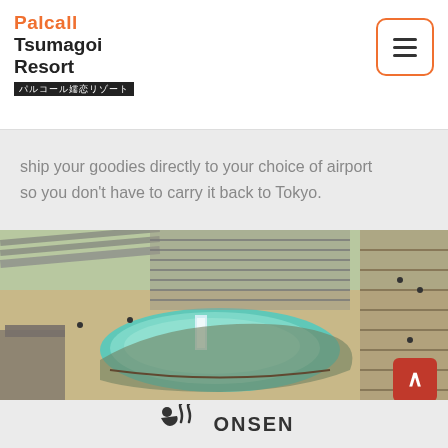Palcall Tsumagoi Resort パルコール嬬恋リゾート
ship your goodies directly to your choice of airport so you don't have to carry it back to Tokyo.
[Figure (photo): Aerial view of a Japanese onsen (hot spring) facility showing a turquoise pool, wooden walkways, staircases, and visitors walking around the outdoor bathing area]
ONSEN